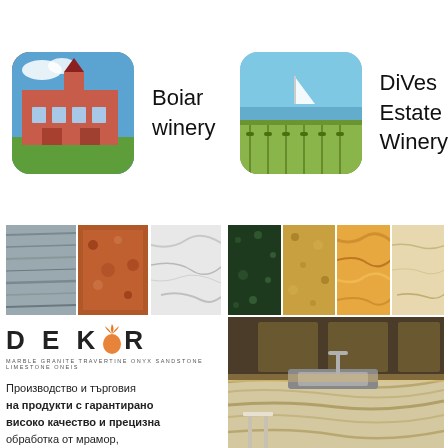[Figure (photo): Photo of Boiar winery building - a red/pink ornate building with gardens]
Boiar winery
[Figure (photo): Photo of DiVes Estate Winery - vineyard landscape with sea in background]
DiVes Estate Winery
[Figure (photo): Stone texture samples collage - grey slate, red granite, white marble]
[Figure (photo): Stone texture samples collage - dark green, gold granite, orange onyx, beige limestone]
[Figure (logo): DEKOR logo with orange flame/carrot O symbol and tagline MARBLE GRANITE TRAVERTINE ONYX SANDSTONE LIMESTONE ONEIS]
[Figure (photo): Kitchen interior with marble stone countertop and sink]
Производство и търговия на продукти с гарантирано високо качество и прецизна обработка от мрамор, гранит, травертин, оникс, пясъчник, варовик и гнайс